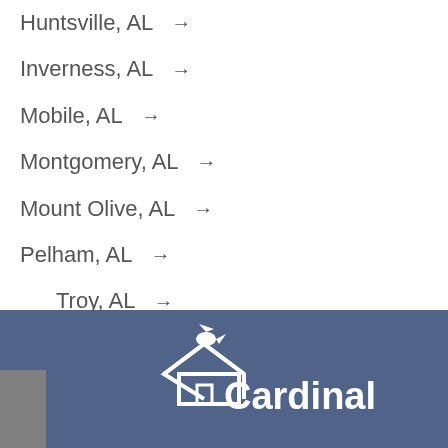Huntsville, AL →
Inverness, AL →
Mobile, AL →
Montgomery, AL →
Mount Olive, AL →
Pelham, AL →
Troy, AL →
Franklin, TN →
[Figure (logo): Cardinal logo with bird and house silhouette in white, with the text Cardinal on a dark blue-grey background]